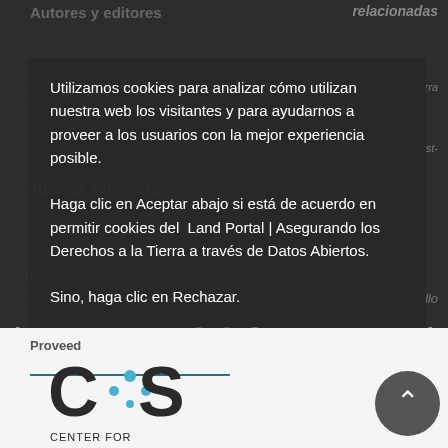Autores y editores
relacionadas
Author(s)/editor(s)/other contributor(s):
Tuomas Tammisto
Publisher(s):
Desarrollo
Conflicto agrario
Utilizamos cookies para analizar cómo utilizan nuestra web los visitantes y para ayudarnos a proveer a los usuarios con la mejor experiencia posible.
Haga clic en Aceptar abajo si está de acuerdo en permitir cookies del Land Portal | Asegurando los Derechos a la Tierra a través de Datos Abiertos.
Sino, haga clic en Rechazar.
Aceptar
Rechazar
Proveed
[Figure (logo): Center for Open Science (COS) logo in dark background section]
[Figure (logo): Center for Open Science (COS) logo in light/white section at bottom]